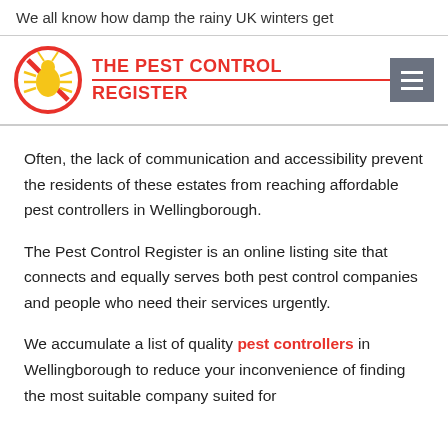We all know how damp the rainy UK winters get
[Figure (logo): The Pest Control Register logo: circular red no-entry sign with a yellow bug, beside bold red uppercase text 'THE PEST CONTROL REGISTER' with a red underline between the two lines]
Often, the lack of communication and accessibility prevent the residents of these estates from reaching affordable pest controllers in Wellingborough.
The Pest Control Register is an online listing site that connects and equally serves both pest control companies and people who need their services urgently.
We accumulate a list of quality pest controllers in Wellingborough to reduce your inconvenience of finding the most suitable company suited for